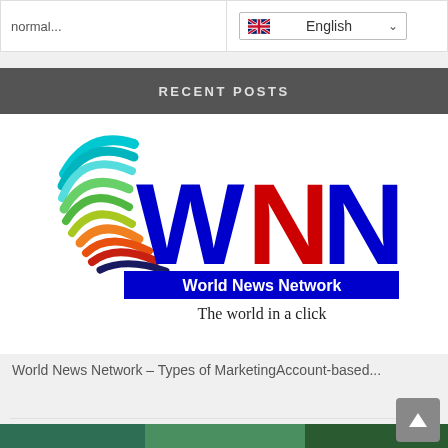normal...
English
RECENT POSTS
[Figure (logo): World News Network logo with colorful globe icon on left and large WNN text in blue and red, with tagline 'The world in a click']
World News Network – Types of MarketingAccount-based...